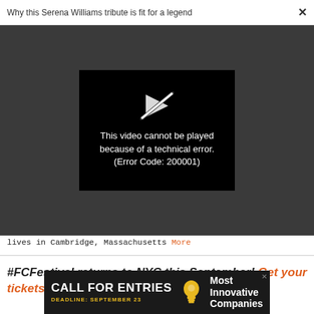Why this Serena Williams tribute is fit for a legend  ×
[Figure (screenshot): Video player showing error message: 'This video cannot be played because of a technical error. (Error Code: 200001)' on a dark background with a broken play icon.]
lives in Cambridge, Massachusetts More
#FCFestival returns to NYC this September! Get your tickets today!
[Figure (other): Advertisement banner: CALL FOR ENTRIES, DEADLINE: SEPTEMBER 23, Most Innovative Companies. Dark background with lightbulb icon.]